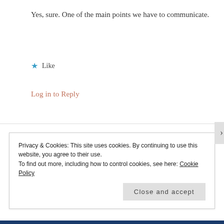Yes, sure. One of the main points we have to communicate.
★ Like
Log in to Reply
MARCUS BUSBY
MARCH 13, 2015 AT 9:46 AM
That is a good question to consider.
Privacy & Cookies: This site uses cookies. By continuing to use this website, you agree to their use.
To find out more, including how to control cookies, see here: Cookie Policy
Close and accept